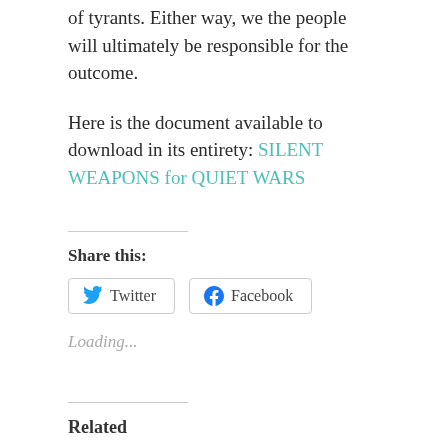of tyrants. Either way, we the people will ultimately be responsible for the outcome.
Here is the document available to download in its entirety: SILENT WEAPONS for QUIET WARS
Share this:
Twitter Facebook
Loading...
Related
Silent Weapons for Quiet Wars Part I
President Trump, Gun Control, Mental Illness